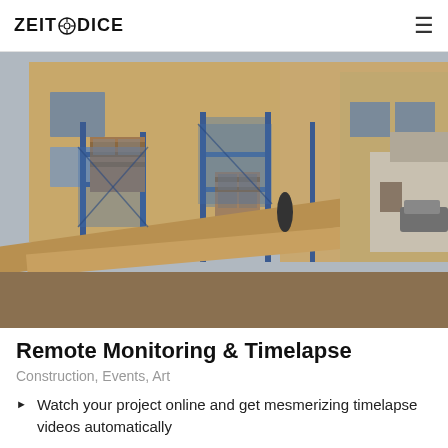ZEITODICE
[Figure (photo): Construction site photo showing a house being built with scaffolding, bricks, lumber, and workers in a suburban neighborhood]
Remote Monitoring & Timelapse
Construction, Events, Art
Watch your project online and get mesmerizing timelapse videos automatically
Easily share visuals with project stakeholders